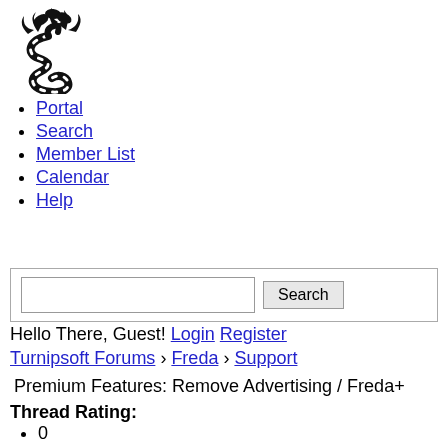[Figure (logo): Turnipsoft logo: stylized black turnip/plant figure with decorative flourishes on top]
Portal
Search
Member List
Calendar
Help
Hello There, Guest! Login Register
Turnipsoft Forums › Freda › Support
Premium Features: Remove Advertising / Freda+
Thread Rating:
0
Vote(s)
-
0
Average